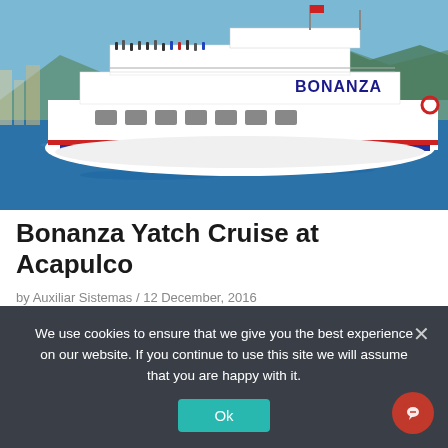[Figure (photo): Photo of the Bonanza yacht cruise ship on blue water near Acapulco, with mountains in the background, passengers visible on multiple decks, white vessel with red stripe and BONANZA name on hull.]
Bonanza Yatch Cruise at Acapulco
by Auxiliar Sistemas / 12 December, 2016
We use cookies to ensure that we give you the best experience on our website. If you continue to use this site we will assume that you are happy with it.